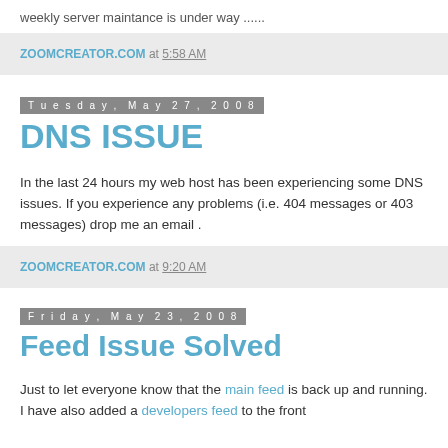weekly server maintance is under way ......
ZOOMCREATOR.COM at 5:58 AM
Tuesday, May 27, 2008
DNS ISSUE
In the last 24 hours my web host has been experiencing some DNS issues. If you experience any problems (i.e. 404 messages or 403 messages) drop me an email .
ZOOMCREATOR.COM at 9:20 AM
Friday, May 23, 2008
Feed Issue Solved
Just to let everyone know that the main feed is back up and running. I have also added a developers feed to the front